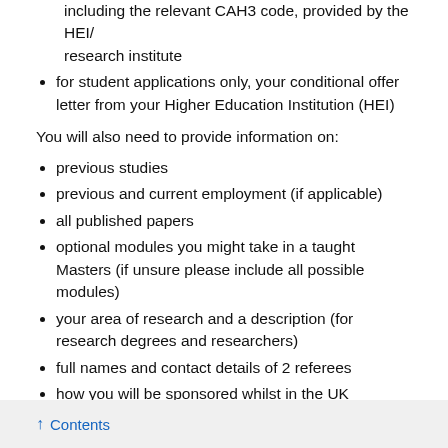information about your programme of study/research including the relevant CAH3 code, provided by the HEI/research institute
for student applications only, your conditional offer letter from your Higher Education Institution (HEI)
You will also need to provide information on:
previous studies
previous and current employment (if applicable)
all published papers
optional modules you might take in a taught Masters (if unsure please include all possible modules)
your area of research and a description (for research degrees and researchers)
full names and contact details of 2 referees
how you will be sponsored whilst in the UK
You should apply for an Academic Technology Approval Scheme (ATAS) certificate online
↑ Contents